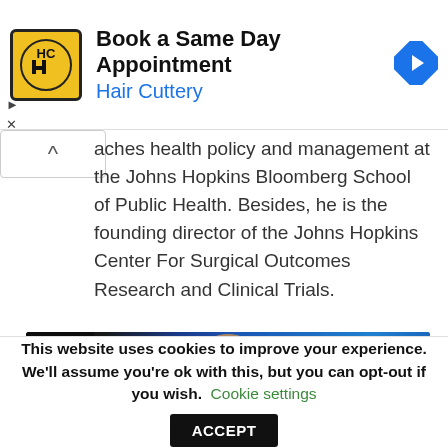[Figure (screenshot): Hair Cuttery advertisement banner with logo, 'Book a Same Day Appointment' headline, and navigation arrow icon]
aches health policy and management at the Johns Hopkins Bloomberg School of Public Health. Besides, he is the founding director of the Johns Hopkins Center For Surgical Outcomes Research and Clinical Trials.
[Figure (photo): Portrait photo of a man with dark hair against a blue-lit medical/lab equipment background with monitors visible]
This website uses cookies to improve your experience. We'll assume you're ok with this, but you can opt-out if you wish. Cookie settings ACCEPT